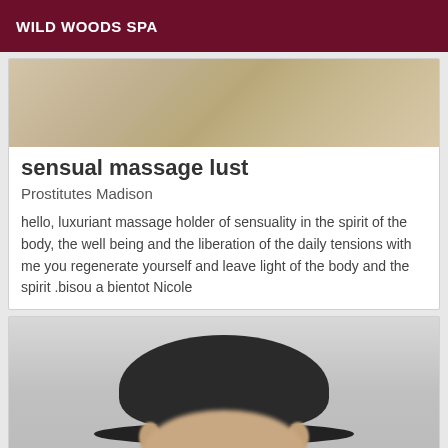WILD WOODS SPA
[Figure (photo): Partial photo of a room interior, cropped at top]
sensual massage lust
Prostitutes Madison
hello, luxuriant massage holder of sensuality in the spirit of the body, the well being and the liberation of the daily tensions with me you regenerate yourself and leave light of the body and the spirit .bisou a bientot Nicole
[Figure (photo): A person wearing a dark/black baseball cap, photo cropped showing top of head and face from below nose up, blurred background]